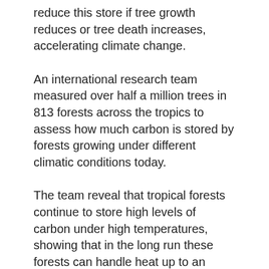reduce this store if tree growth reduces or tree death increases, accelerating climate change.
An international research team measured over half a million trees in 813 forests across the tropics to assess how much carbon is stored by forests growing under different climatic conditions today.
The team reveal that tropical forests continue to store high levels of carbon under high temperatures, showing that in the long run these forests can handle heat up to an estimated threshold of 32 degrees Celsius in daytime temperature.